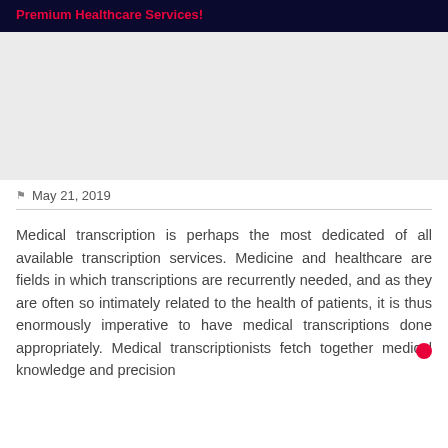Premium Healthcare Services!
[Figure (photo): Image placeholder for healthcare/medical transcription related photo]
May 21, 2019
Medical transcription is perhaps the most dedicated of all available transcription services. Medicine and healthcare are fields in which transcriptions are recurrently needed, and as they are often so intimately related to the health of patients, it is thus enormously imperative to have medical transcriptions done appropriately. Medical transcriptionists fetch together medical knowledge and precision